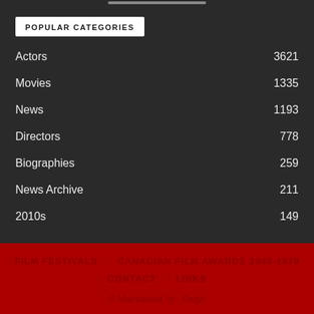POPULAR CATEGORIES
Actors 3621
Movies 1335
News 1193
Directors 778
Biographies 259
News Archive 211
2010s 149
FILM FESTIVALS   CANADIAN FILM AWARDS 1949-1979   CONTACT   LINKS   © Maintained by  Pagzi